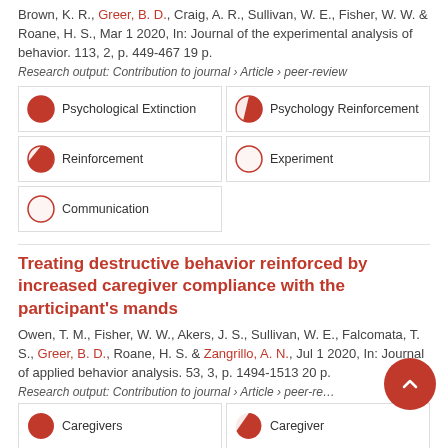Brown, K. R., Greer, B. D., Craig, A. R., Sullivan, W. E., Fisher, W. W. & Roane, H. S., Mar 1 2020, In: Journal of the experimental analysis of behavior. 113, 2, p. 449-467 19 p.
Research output: Contribution to journal › Article › peer-review
[Figure (infographic): Keyword badges: Psychological Extinction 100%, Psychology Reinforcement 90%, Reinforcement 75%, Experiment 10%, Communication 10%]
Treating destructive behavior reinforced by increased caregiver compliance with the participant's mands
Owen, T. M., Fisher, W. W., Akers, J. S., Sullivan, W. E., Falcomata, T. S., Greer, B. D., Roane, H. S. & Zangrillo, A. N., Jul 1 2020, In: Journal of applied behavior analysis. 53, 3, p. 1494-1513 20 p.
Research output: Contribution to journal › Article › peer-review
[Figure (infographic): Keyword badges: Caregivers 100%, Caregiver 70%, Reinforcement (partial visible), Reinforcement (partial visible)]